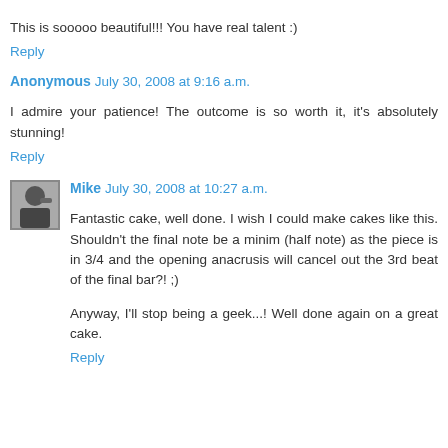This is sooooo beautiful!!! You have real talent :)
Reply
Anonymous  July 30, 2008 at 9:16 a.m.
I admire your patience! The outcome is so worth it, it's absolutely stunning!
Reply
Mike  July 30, 2008 at 10:27 a.m.
Fantastic cake, well done. I wish I could make cakes like this. Shouldn't the final note be a minim (half note) as the piece is in 3/4 and the opening anacrusis will cancel out the 3rd beat of the final bar?! ;)
Anyway, I'll stop being a geek...! Well done again on a great cake.
Reply